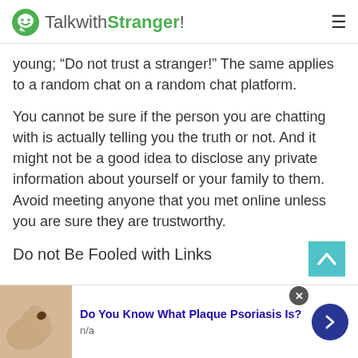TalkwithStranger!
young; “Do not trust a stranger!” The same applies to a random chat on a random chat platform.
You cannot be sure if the person you are chatting with is actually telling you the truth or not. And it might not be a good idea to disclose any private information about yourself or your family to them. Avoid meeting anyone that you met online unless you are sure they are trustworthy.
Do not Be Fooled with Links
Most people make the mistake of clicking a suspicious li…
[Figure (infographic): Advertisement banner: 'Do You Know What Plaque Psoriasis Is?' with n/a label, an image of a hand/skin, and a navigation arrow button.]